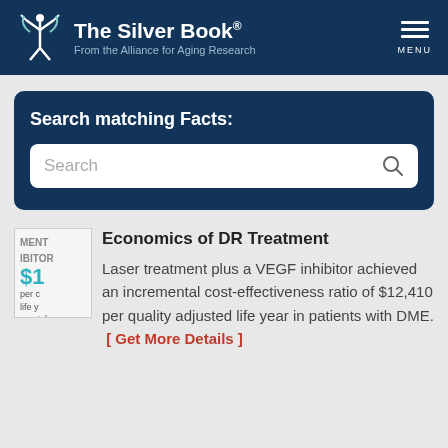The Silver Book® From the Alliance for Aging Research
Search matching Facts:
Search
Economics of DR Treatment
Laser treatment plus a VEGF inhibitor achieved an incremental cost-effectiveness ratio of $12,410 per quality adjusted life year in patients with DME.  [ Get More Details ]